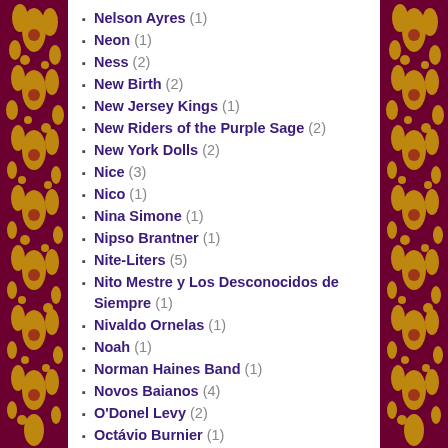Nelson Ayres (1)
Neon (1)
Ness (2)
New Birth (2)
New Jersey Kings (1)
New Riders of the Purple Sage (2)
New York Dolls (2)
Nice (3)
Nico (1)
Nina Simone (1)
Nipso Brantner (1)
Nite-Liters (5)
Nito Mestre y Los Desconocidos de Siempre (1)
Nivaldo Ornelas (1)
Noah (1)
Norman Haines Band (1)
Novos Baianos (4)
O'Donel Levy (2)
Octávio Burnier (1)
Odin (1)
Olho de Gato (1)